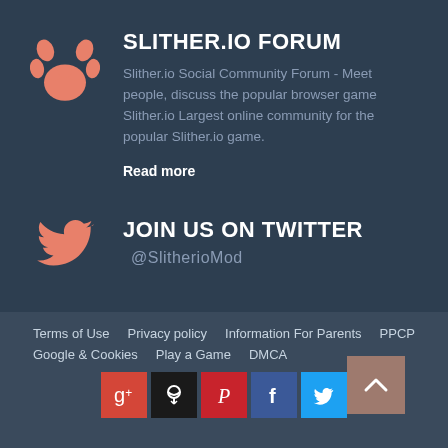SLITHER.IO FORUM
Slither.io Social Community Forum - Meet people, discuss the popular browser game Slither.io Largest online community for the popular Slither.io game.
Read more
JOIN US ON TWITTER @SlitherioMod
Terms of Use   Privacy policy   Information For Parents   PPCP   Google & Cookies   Play a Game   DMCA